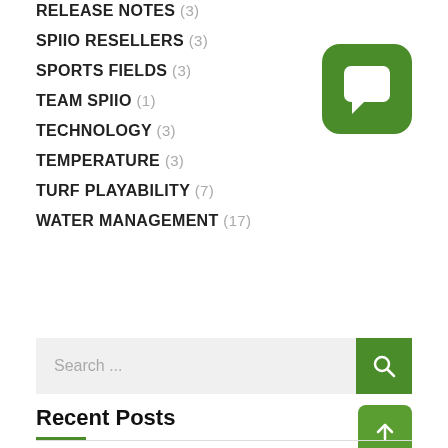RELEASE NOTES (3)
SPIIO RESELLERS (3)
SPORTS FIELDS (3)
TEAM SPIIO (1)
TECHNOLOGY (3)
TEMPERATURE (3)
TURF PLAYABILITY (7)
WATER MANAGEMENT (17)
[Figure (logo): Green rounded square icon with white speech bubble / message icon]
Search ...
Recent Posts